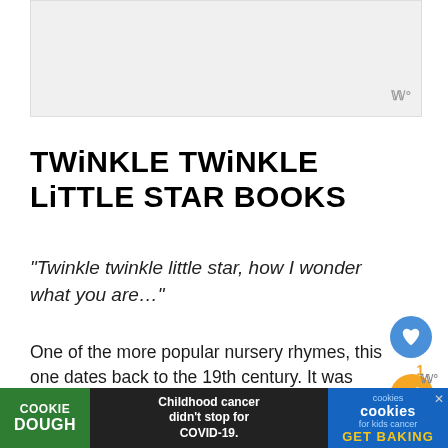[Figure (other): Top image placeholder area, light gray background]
TWiNKLE TWiNKLE LiTTLE STAR BOOKS
“Twinkle twinkle little star, how I wonder what you are…”
One of the more popular nursery rhymes, this one dates back to the 19th century. It was written as a poem by a women named Jane Taylor. The poem was originally called “The S...
[Figure (infographic): Advertisement banner: Cookie Dough - Childhood cancer didn't stop for COVID-19. Cookies for kids cancer - GET BAKING]